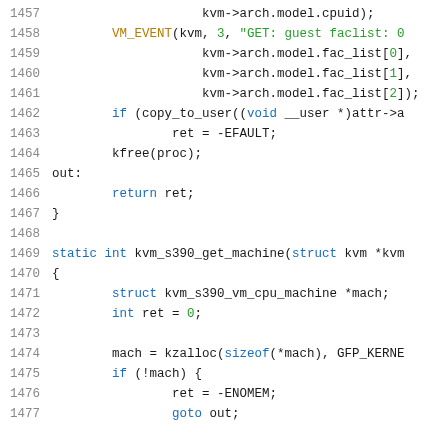[Figure (screenshot): Source code listing in a monospace editor showing C kernel code lines 1457-1477, with syntax highlighting: blue keywords, green strings/numbers, default dark text for identifiers.]